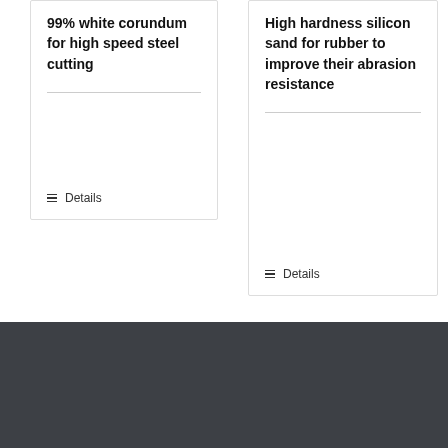99% white corundum for high speed steel cutting
Details
High hardness silicon sand for rubber to improve their abrasion resistance
Details
ACTIVATED CARBON
Choose your language »
Granular activated